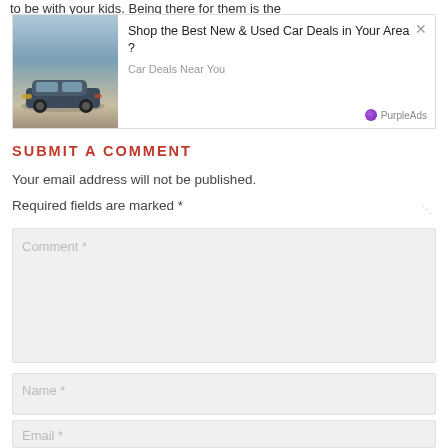to be with your kids. Being there for them is the
[Figure (screenshot): Advertisement banner showing a luxury SUV car with text 'Shop the Best New & Used Car Deals in Your Area?' and 'Car Deals Near You', branded with PurpleAds logo]
SUBMIT A COMMENT
Your email address will not be published.
Required fields are marked *
Comment *
Name *
Email *